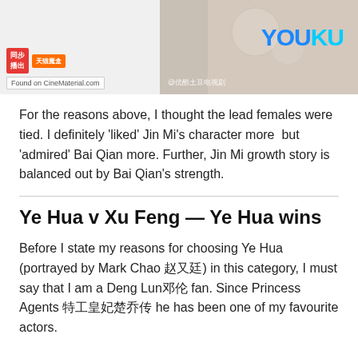[Figure (photo): Left: CineMaterial logo with Chinese streaming service branding and 'Found on CineMaterial.com' watermark. Right: Youku branded image with Chinese costume drama still and YOUKU logo in blue/cyan.]
For the reasons above, I thought the lead females were tied. I definitely 'liked' Jin Mi's character more  but 'admired' Bai Qian more. Further, Jin Mi growth story is balanced out by Bai Qian's strength.
Ye Hua v Xu Feng — Ye Hua wins
Before I state my reasons for choosing Ye Hua (portrayed by Mark Chao 赵又廷) in this category, I must say that I am a Deng Lun邓伦 fan. Since Princess Agents 特工皇妃楚乔传 he has been one of my favourite actors.